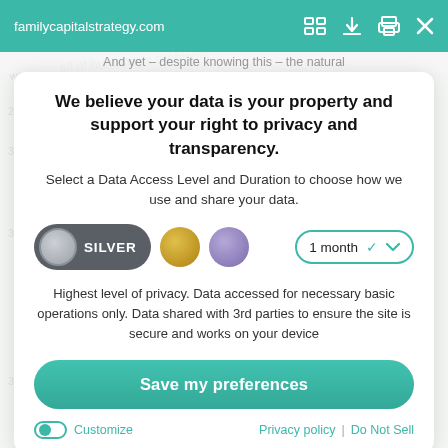familycapitalstrategy.com
And yet – despite knowing this – the natural
We believe your data is your property and support your right to privacy and transparency.
Select a Data Access Level and Duration to choose how we use and share your data.
[Figure (infographic): Tier selector row with SILVER pill (dark gray with gray circle), gold circle, purple circle, and a '1 month' dropdown with teal border and chevron]
Highest level of privacy. Data accessed for necessary basic operations only. Data shared with 3rd parties to ensure the site is secure and works on your device
Save my preferences
Customize | Privacy policy | Do Not Sell